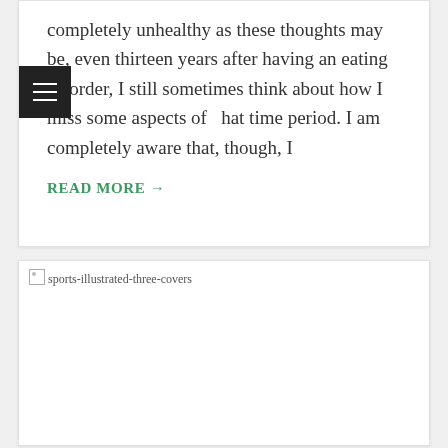completely unhealthy as these thoughts may be, even thirteen years after having an eating disorder, I still sometimes think about how I miss some aspects of that time period. I am completely aware that, though, I
READ MORE →
[Figure (photo): Broken image placeholder for 'sports-illustrated-three-covers']